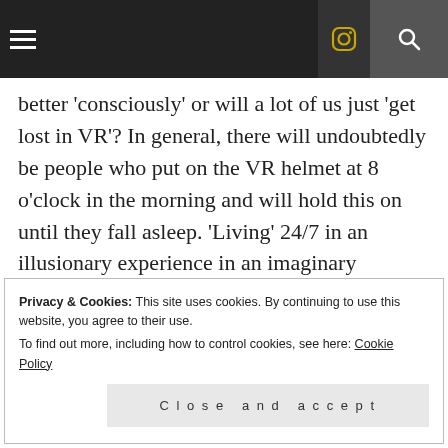better ‘consciously’ or will a lot of us just ‘get lost in VR’? In general, there will undoubtedly be people who put on the VR helmet at 8 o’clock in the morning and will hold this on until they fall asleep. ‘Living’ 24/7 in an illusionary experience in an imaginary world…
The question is, aren’t we all, already living in an illusionary holographic world, known as
Privacy & Cookies: This site uses cookies. By continuing to use this website, you agree to their use.
To find out more, including how to control cookies, see here: Cookie Policy
Close and accept